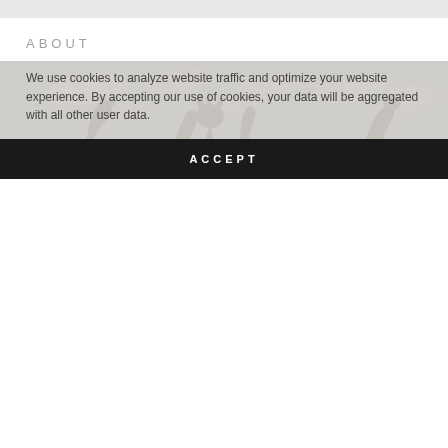ABOUT
[Figure (photo): Silhouettes of people raising their hands/arms against a blue sky with scattered clouds]
This website uses cookies.
We use cookies to analyze website traffic and optimize your website experience. By accepting our use of cookies, your data will be aggregated with all other user data.
ACCEPT